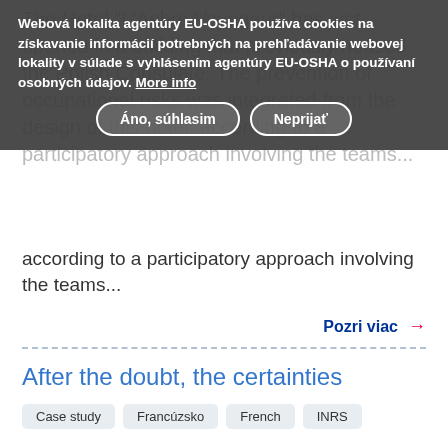The Hotel "L'Asbre Voyageur" has just opened in a building that previously housed the Polish Consulate. The prevention of occupational risks was integrated from the design of this hotel, according to a participatory approach involving the teams...
Webová lokalita agentúry EU-OSHA používa cookies na získavanie informácií potrebných na prehľadávanie webovej lokality v súlade s vyhlásením agentúry EU-OSHA o používaní osobných údajov. More info
Áno, súhlasim | Neprijať
Pozri viac →
After the doubt, the certainties
Case study
Francúzsko
French
INRS
It is not easy for a very small company to agree to be part of the TMS Pros programme when it is already thinking about the well-being of its employees. But the managers of Astic, a cleaning company in Auvergne, were convinced by Carsat Auvergne and accepted before working at no 2. Astic...